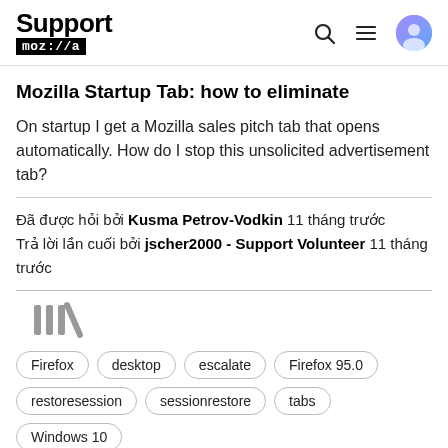Support mozilla
Mozilla Startup Tab: how to eliminate
On startup I get a Mozilla sales pitch tab that opens automatically. How do I stop this unsolicited advertisement tab?
Đã được hỏi bởi Kusma Petrov-Vodkin 11 tháng trước
Trả lời lần cuối bởi jscher2000 - Support Volunteer 11 tháng trước
[Figure (other): Library/collection icon with vertical bar lines]
Firefox  desktop  escalate  Firefox 95.0  restoresession  sessionrestore  tabs  Windows 10
14 trả lời  0 bình chọn trong tuần này  77 lượt xem